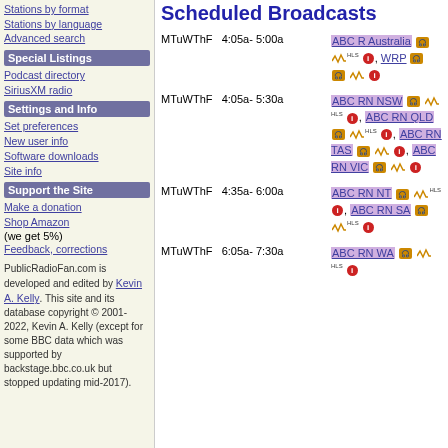Stations by format
Stations by language
Advanced search
Special Listings
Podcast directory
SiriusXM radio
Settings and Info
Set preferences
New user info
Software downloads
Site info
Support the Site
Make a donation
Shop Amazon (we get 5%)
Feedback, corrections
PublicRadioFan.com is developed and edited by Kevin A. Kelly. This site and its database copyright © 2001-2022, Kevin A. Kelly (except for some BBC data which was supported by backstage.bbc.co.uk but stopped updating mid-2017).
Scheduled Broadcasts
MTuWThF  4:05a- 5:00a  ABC R Australia, WRP
MTuWThF  4:05a- 5:30a  ABC RN NSW, ABC RN QLD, ABC RN TAS, ABC RN VIC
MTuWThF  4:35a- 6:00a  ABC RN NT, ABC RN SA
MTuWThF  6:05a- 7:30a  ABC RN WA